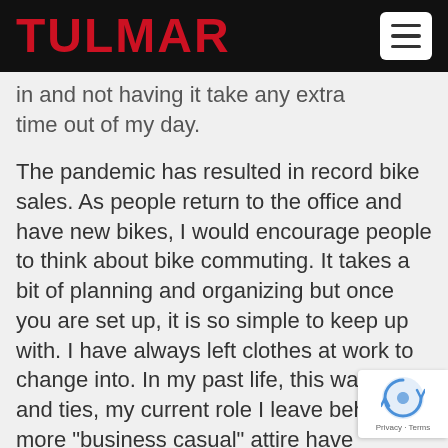TULMAR
in and not having it take any extra time out of my day.
The pandemic has resulted in record bike sales. As people return to the office and have new bikes, I would encourage people to think about bike commuting. It takes a bit of planning and organizing but once you are set up, it is so simple to keep up with. I have always left clothes at work to change into. In my past life, this was suits and ties, my current role I leave behind more "business casual" attire have pannier bags for the back of my